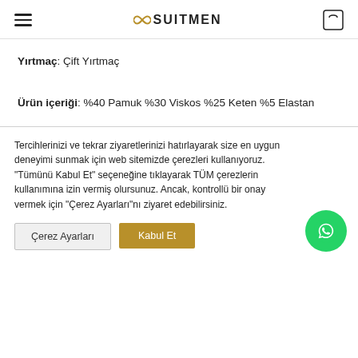SUITMEN
Yırtmaç: Çift Yırtmaç
Ürün içeriği: %40 Pamuk %30 Viskos %25 Keten %5 Elastan
Tercihlerinizi ve tekrar ziyaretlerinizi hatırlayarak size en uygun deneyimi sunmak için web sitemizde çerezleri kullanıyoruz. "Tümünü Kabul Et" seçeneğine tıklayarak TÜM çerezlerin kullanımına izin vermiş olursunuz. Ancak, kontrollü bir onay vermek için "Çerez Ayarları"nı ziyaret edebilirsiniz.
Çerez Ayarları
Kabul Et